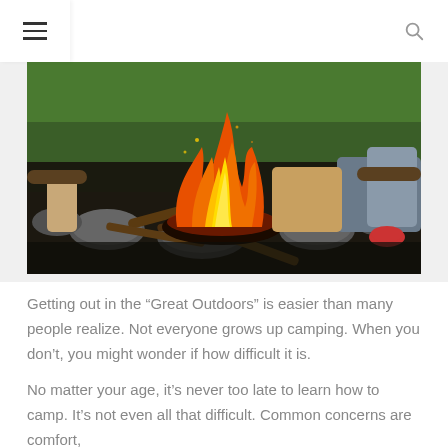≡  🔍
[Figure (photo): A campfire with large orange and yellow flames burning over wood and rocks, with people sitting around it on logs in a grassy outdoor setting.]
Getting out in the “Great Outdoors” is easier than many people realize. Not everyone grows up camping. When you don’t, you might wonder if how difficult it is.
No matter your age, it’s never too late to learn how to camp. It’s not even all that difficult. Common concerns are comfort,